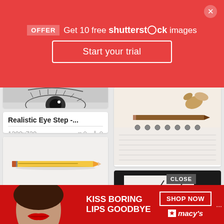[Figure (screenshot): Shutterstock promotional banner - red background with OFFER badge, 'Get 10 free shutterstock images', Start your trial button, and close X button]
[Figure (photo): Partial top of card showing realistic eye drawing sketch - pencil on paper]
Realistic Eye Step -...
1280x720   ♥ 0   ⬇ 0
[Figure (photo): Yellow pencil on white background]
The Best Drawing Pap...
720x198   ♥ 0   ⬇ 0
[Figure (photo): Partial bottom of card - drawing supplies]
[Figure (photo): Spiral notebook with pencil and pencil shavings]
Spiral Drawing Test ...
4000x2000   ♥ 0   ⬇ 0
[Figure (photo): Hand drawing a 3D ladder illustration on white paper, dark background]
[Figure (screenshot): Macy's advertisement - KISS BORING LIPS GOODBYE with SHOP NOW button and Macy's logo, woman with red lips]
CLOSE